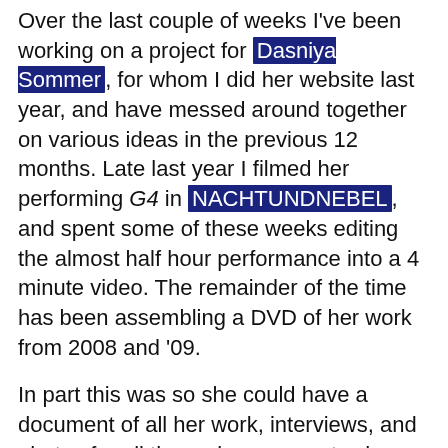Over the last couple of weeks I've been working on a project for Dasniya Sommer, for whom I did her website last year, and have messed around together on various ideas in the previous 12 months. Late last year I filmed her performing G4 in NACHTUNDNEBEL, and spent some of these weeks editing the almost half hour performance into a 4 minute video. The remainder of the time has been assembling a DVD of her work from 2008 and '09.
In part this was so she could have a document of all her work, interviews, and photos for all the various requests she receives for this, but firstly for the Shibari Festival we went to in London over the weekend.